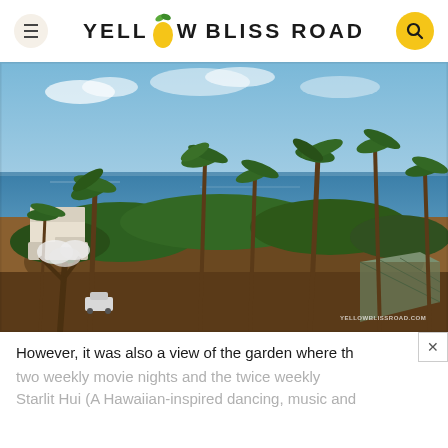YELLOW BLISS ROAD
[Figure (photo): Aerial view of a Hawaiian coastal scene with palm trees, tropical vegetation, sandy ground, low white buildings on the left, a glass-roofed structure on the right, and the blue ocean in the background under a partly cloudy sky. Watermark reads YELLOWBLISSROAD.COM]
However, it was also a view of the garden where th
two weekly movie nights and the twice weekly Starlit Hui (A Hawaiian-inspired dancing, music and